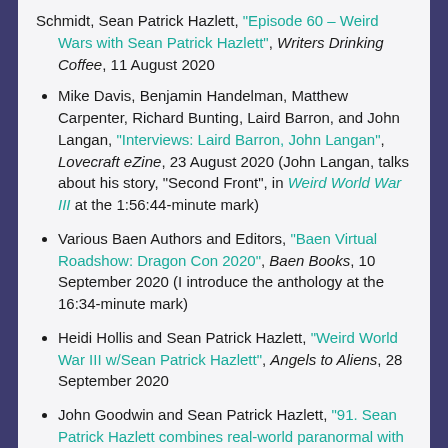Schmidt, Sean Patrick Hazlett, "Episode 60 – Weird Wars with Sean Patrick Hazlett", Writers Drinking Coffee, 11 August 2020
Mike Davis, Benjamin Handelman, Matthew Carpenter, Richard Bunting, Laird Barron, and John Langan, "Interviews: Laird Barron, John Langan", Lovecraft eZine, 23 August 2020 (John Langan, talks about his story, "Second Front", in Weird World War III at the 1:56:44-minute mark)
Various Baen Authors and Editors, "Baen Virtual Roadshow: Dragon Con 2020", Baen Books, 10 September 2020 (I introduce the anthology at the 16:34-minute mark)
Heidi Hollis and Sean Patrick Hazlett, "Weird World War III w/Sean Patrick Hazlett", Angels to Aliens, 28 September 2020
John Goodwin and Sean Patrick Hazlett, "91. Sean Patrick Hazlett combines real-world paranormal with dark fantasy", Writers & Illustrators of the